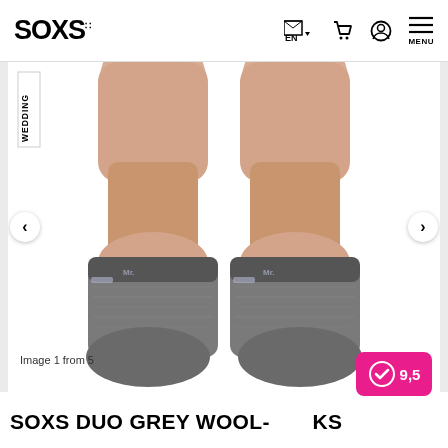[Figure (logo): SOXS logo in bold black text with stylized letters]
[Figure (screenshot): Navigation icons: flag with EN label, shopping cart, user account, and MENU hamburger icon]
[Figure (photo): Product photo showing grey wool socks worn on two legs, with WEDDING badge on left side, navigation arrows on sides]
Image 1 from 5
SOXS DUO GREY WOOL- KS